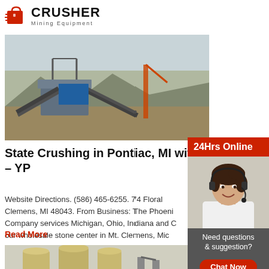[Figure (logo): Crusher Mining Equipment logo with red shopping bag icon and bold black CRUSHER text]
[Figure (photo): Outdoor photo of mining crushing equipment and conveyor belts at a mining site]
State Crushing in Pontiac, MI with – YP
Website Directions. (586) 465-6255. 74 Floral Clemens, MI 48043. From Business: The Phoeni Company services Michigan, Ohio, Indiana and C our wholesale stone center in Mt. Clemens, Mic provide natural flagstones,. 11.
Read More
[Figure (photo): Indoor photo of industrial grain silos or storage tanks in a facility]
[Figure (photo): 24Hrs Online sidebar with photo of woman with headset, Need questions & suggestion, Chat Now button, Enquiry, limingjlmofen@sina.com]